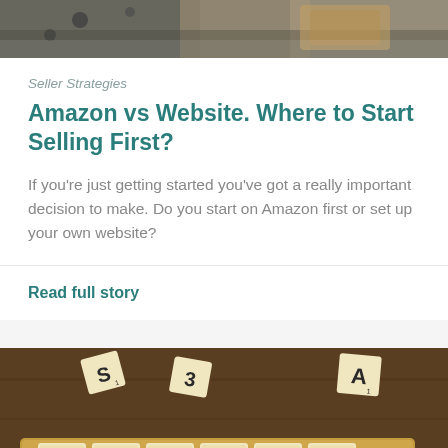[Figure (photo): Top portion of a photo showing a wooden box and dark background, partially cropped]
Seller Strategies
Amazon vs Website. Where to Start Selling First?
If you're just getting started you've got a really important decision to make. Do you start on Amazon first or set up your own website?
Read full story
[Figure (photo): Photo of Scrabble tiles spelling EXPAND on a wooden tile holder, with scattered letter tiles on a wooden surface. Text 'go to top' with upward arrow in bottom right corner.]